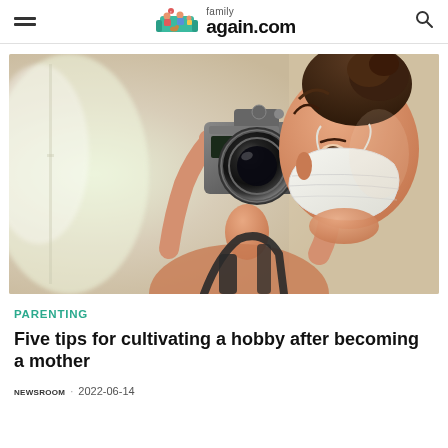family again.com
[Figure (photo): A young woman wearing a white face mask holds a DSLR camera up to take a photograph of herself, photographed against a bright indoor background.]
Parenting
Five tips for cultivating a hobby after becoming a mother
newsroom · 2022-06-14